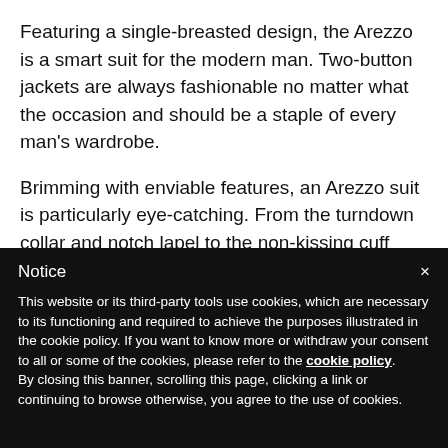Featuring a single-breasted design, the Arezzo is a smart suit for the modern man. Two-button jackets are always fashionable no matter what the occasion and should be a staple of every man's wardrobe.
Brimming with enviable features, an Arezzo suit is particularly eye-catching. From the turndown collar and notch lapel to the non-kissing cuff buttons and
Notice × This website or its third-party tools use cookies, which are necessary to its functioning and required to achieve the purposes illustrated in the cookie policy. If you want to know more or withdraw your consent to all or some of the cookies, please refer to the cookie policy. By closing this banner, scrolling this page, clicking a link or continuing to browse otherwise, you agree to the use of cookies.